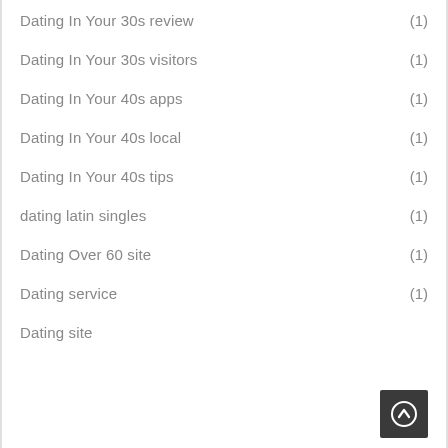Dating In Your 30s review (1)
Dating In Your 30s visitors (1)
Dating In Your 40s apps (1)
Dating In Your 40s local (1)
Dating In Your 40s tips (1)
dating latin singles (1)
Dating Over 60 site (1)
Dating service (1)
Dating site